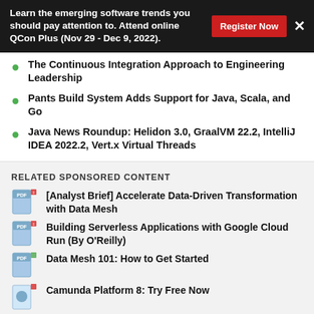Learn the emerging software trends you should pay attention to. Attend online QCon Plus (Nov 29 - Dec 9, 2022). Register Now ×
The Continuous Integration Approach to Engineering Leadership
Pants Build System Adds Support for Java, Scala, and Go
Java News Roundup: Helidon 3.0, GraalVM 22.2, IntelliJ IDEA 2022.2, Vert.x Virtual Threads
RELATED SPONSORED CONTENT
[Analyst Brief] Accelerate Data-Driven Transformation with Data Mesh
Building Serverless Applications with Google Cloud Run (By O'Reilly)
Data Mesh 101: How to Get Started
Camunda Platform 8: Try Free Now
The DevSecGuide to Infrastructure as Code